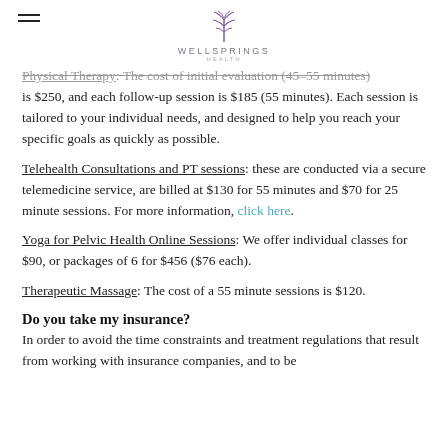WELLSPRINGS HEALTH
Physical Therapy: The cost of initial evaluation (45-55 minutes) is $250, and each follow-up session is $185 (55 minutes). Each session is tailored to your individual needs, and designed to help you reach your specific goals as quickly as possible.
Telehealth Consultations and PT sessions: these are conducted via a secure telemedicine service, are billed at $130 for 55 minutes and $70 for 25 minute sessions. For more information, click here.
Yoga for Pelvic Health Online Sessions: We offer individual classes for $90, or packages of 6 for $456 ($76 each).
Therapeutic Massage: The cost of a 55 minute sessions is $120.
Do you take my insurance?
In order to avoid the time constraints and treatment regulations that result from working with insurance companies, and to be